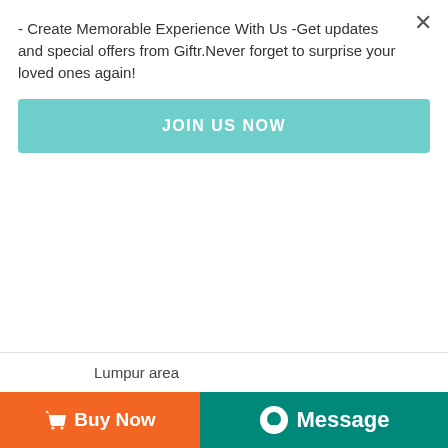- Create Memorable Experience With Us -Get updates and special offers from Giftr.Never forget to surprise your loved ones again!
JOIN US NOW
Lumpur area
Zone B - Selected Shah Alam, Klang, Cheras, Seri Kembangan, Puchong, Subang Jaya, Petaling Jaya, Kuala Lumpur and Ampang area
Zone C - Selected Shah Alam, Klang, Kapar, Kajang, Hulu Langat, Serdang, Semenyih, Bandar Baru Bangi, Beranang, Sungai Buloh, Petaling Jaya, Kuala Lumpur, Putrajaya, Cyberjaya, and Batu Caves area
Zone D - Selected Klang, Pelabuhan Klang, Bandar Puncak Alam, Jenjarom, Tanjong Sepat, Pulau Indah,
Buy Now
Message